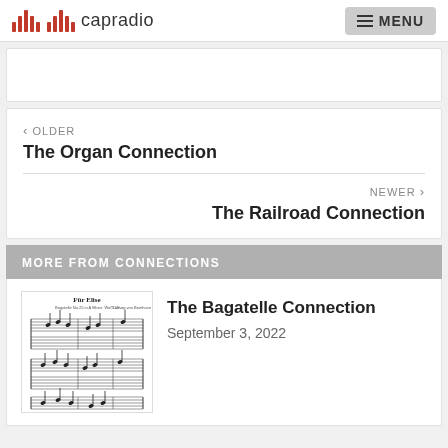capradio  MENU
< OLDER
The Organ Connection
NEWER >
The Railroad Connection
MORE FROM CONNECTIONS
[Figure (illustration): Sheet music score for 'Für Elise' by Ludwig van Beethoven, showing multiple staves with musical notation]
The Bagatelle Connection
September 3, 2022